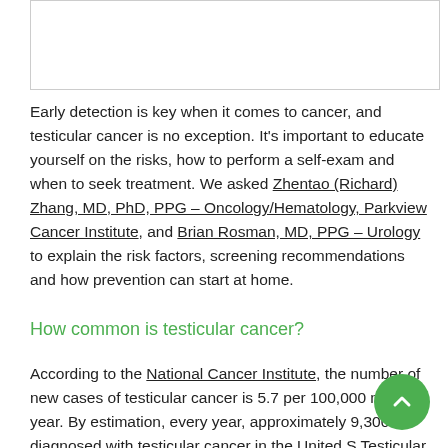[Figure (other): Empty bordered image box at top of page]
Early detection is key when it comes to cancer, and testicular cancer is no exception. It's important to educate yourself on the risks, how to perform a self-exam and when to seek treatment. We asked Zhentao (Richard) Zhang, MD, PhD, PPG – Oncology/Hematology, Parkview Cancer Institute, and Brian Rosman, MD, PPG – Urology to explain the risk factors, screening recommendations and how prevention can start at home.
How common is testicular cancer?
According to the National Cancer Institute, the number of new cases of testicular cancer is 5.7 per 100,000 men per year. By estimation, every year, approximately 9,300 are diagnosed with testicular cancer in the United S... Testicular cancer accounts for only 1 percent of all cancers